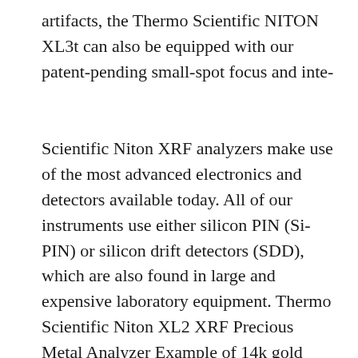artifacts, the Thermo Scientific NITON XL3t can also be equipped with our patent-pending small-spot focus and inte-
Scientific Niton XRF analyzers make use of the most advanced electronics and detectors available today. All of our instruments use either silicon PIN (Si-PIN) or silicon drift detectors (SDD), which are also found in large and expensive laboratory equipment. Thermo Scientific Niton XL2 XRF Precious Metal Analyzer Example of 14k gold analysis. Niton XL3t GOLDD+ XRF analyzer delivers measurement times up to 10-times faster than conventional Si-PIN detectors and up to 3-times more precise than conventional smaller silicon drift detectors (SDD)...